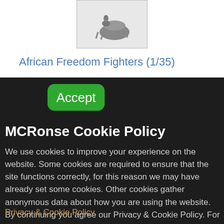[Figure (photo): Product image showing African Freedom Fighters item with figure on horseback]
African Freedom Fighters (1/35)
[Figure (screenshot): Cookie consent modal overlay on dark background with Accept button, MCRonse Cookie Policy heading, body text, and Privacy & Cookie Policy link]
MCRonse Cookie Policy
We use cookies to improve your experience on the website. Some cookies are required to ensure that the site functions correctly, for this reason we may have already set some cookies. Other cookies gather anonymous data about how you are using the website. By continuing you agree our Privacy & Cookie Policy. For more information go to
Privacy & Cookie Policy